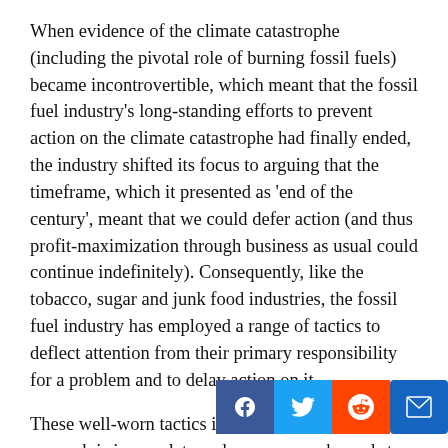When evidence of the climate catastrophe (including the pivotal role of burning fossil fuels) became incontrovertible, which meant that the fossil fuel industry's long-standing efforts to prevent action on the climate catastrophe had finally ended, the industry shifted its focus to arguing that the timeframe, which it presented as 'end of the century', meant that we could defer action (and thus profit-maximization through business as usual could continue indefinitely). Consequently, like the tobacco, sugar and junk food industries, the fossil fuel industry has employed a range of tactics to deflect attention from their primary responsibility for a problem and to delay action on it.
These well-worn tactics include suggesting that the research is incomplete and more research needs to be done, funding 'research' to come up with 'evidence' to counter the climate science, employing scholars to present this 'research', discrediting honest science, scientists, infiltrating and undermining government and...